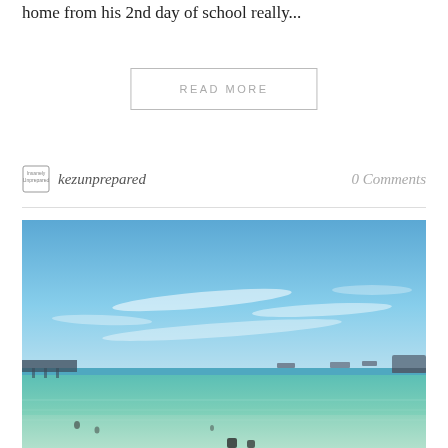home from his 2nd day of school really...
READ MORE
kezunprepared
0 Comments
[Figure (photo): Beach scene with clear blue sky, turquoise water, a pier/dock structure on the left, ships on the horizon, and swimmers in the foreground.]